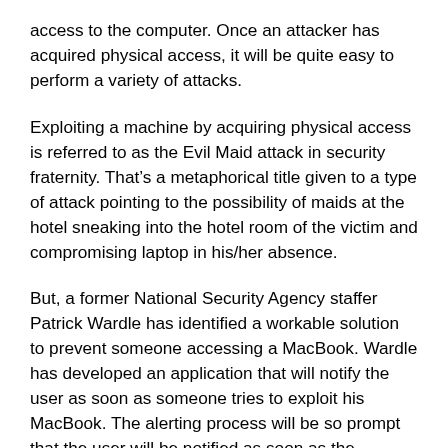access to the computer. Once an attacker has acquired physical access, it will be quite easy to perform a variety of attacks.
Exploiting a machine by acquiring physical access is referred to as the Evil Maid attack in security fraternity. That’s a metaphorical title given to a type of attack pointing to the possibility of maids at the hotel sneaking into the hotel room of the victim and compromising laptop in his/her absence.
But, a former National Security Agency staffer Patrick Wardle has identified a workable solution to prevent someone accessing a MacBook. Wardle has developed an application that will notify the user as soon as someone tries to exploit his MacBook. The alerting process will be so prompt that the user will be notified as soon as the laptop’s lid is opened.